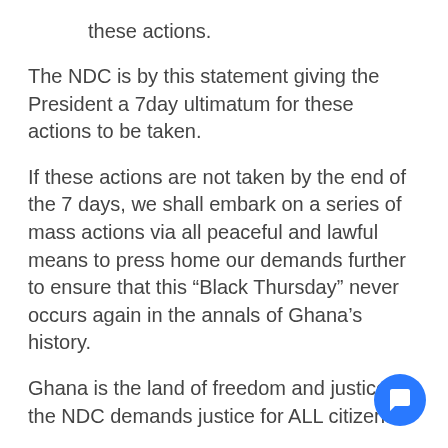these actions.
The NDC is by this statement giving the President a 7day ultimatum for these actions to be taken.
If these actions are not taken by the end of the 7 days, we shall embark on a series of mass actions via all peaceful and lawful means to press home our demands further to ensure that this “Black Thursday” never occurs again in the annals of Ghana’s history.
Ghana is the land of freedom and justice; the NDC demands justice for ALL citizens.
Never; shall the National Democratic Congress sit idly by, and watch Nana Akuffo-Addo and the NPP destroy this dear nation of ours!!!  God forbid!!!!
God bless us all.